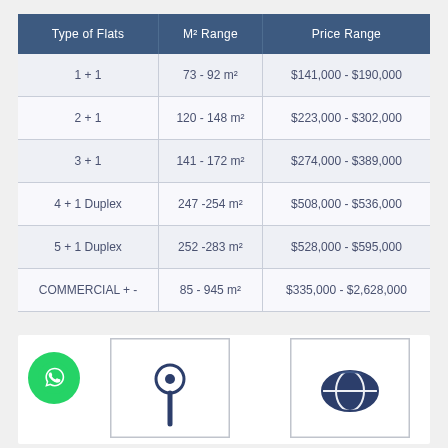| Type of Flats | M² Range | Price Range |
| --- | --- | --- |
| 1 + 1 | 73 - 92 m² | $141,000 - $190,000 |
| 2 + 1 | 120 - 148 m² | $223,000 - $302,000 |
| 3 + 1 | 141 - 172 m² | $274,000 - $389,000 |
| 4 + 1 Duplex | 247 -254 m² | $508,000 - $536,000 |
| 5 + 1 Duplex | 252 -283 m² | $528,000 - $595,000 |
| COMMERCIAL + - | 85 - 945 m² | $335,000 - $2,628,000 |
[Figure (logo): WhatsApp green circular button at bottom left]
[Figure (illustration): Blue location pin icon inside a bordered box]
[Figure (illustration): Blue globe/ball icon inside a bordered box]